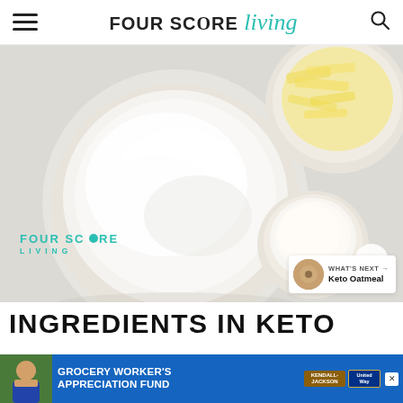FOUR SCORE living
[Figure (photo): Overhead view of three white bowls/dishes on a light grey surface: one large bowl containing white flour or almond flour, one bowl with sliced yellow butter, and one small round bowl with cream or milk. A 'FOUR SCORE LIVING' watermark appears in teal in the lower-left of the image. A share button icon is visible bottom-right.]
INGREDIENTS IN KETO C
[Figure (screenshot): Advertisement banner: 'GROCERY WORKER'S APPRECIATION FUND' in white text on blue background, with Kendall-Jackson and United Way logos, a close button, and a photo of a smiling grocery worker on the left.]